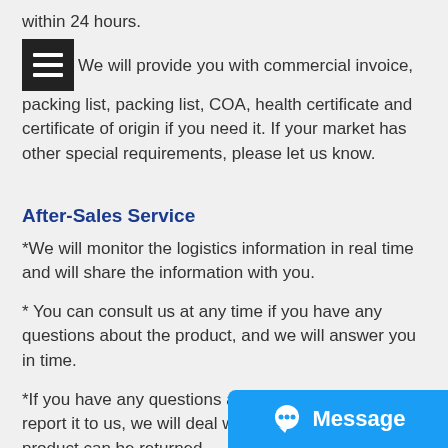within 24 hours.
We will provide you with commercial invoice, packing list, packing list, COA, health certificate and certificate of origin if you need it. If your market has other special requirements, please let us know.
After-Sales Service
*We will monitor the logistics information in real time and will share the information with you.
* You can consult us at any time if you have any questions about the product, and we will answer you in time.
*If you have any questions about the product, report it to us, we will deal with it in... product can be returned.